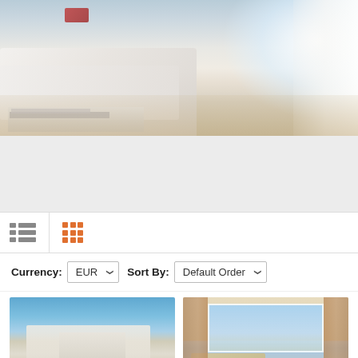[Figure (photo): Hero interior photo showing a modern white sofa/living room with large windows and light wood floor]
[Figure (screenshot): View toggle bar with list and grid icons]
Currency: EUR   Sort By: Default Order
[Figure (photo): Modern ultra-contemporary villa exterior with terraces against blue sky - For Sale badge]
Ultra Modern And High Specification Villa For Sale In Nueva Andalucia, Marbella
[Figure (photo): Stunning villa interior with golf views through large windows, warm tones - For Sale badge]
Stunning Villa With Golf Views Over La Quinta
Stunning villa with golf views...